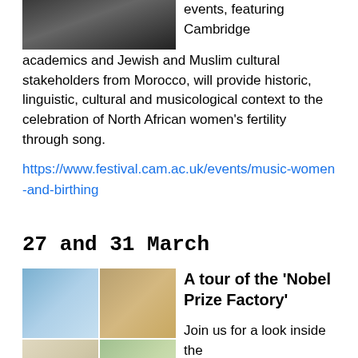[Figure (photo): Partial image of people at top of page]
events, featuring Cambridge academics and Jewish and Muslim cultural stakeholders from Morocco, will provide historic, linguistic, cultural and musicological context to the celebration of North African women's fertility through song.
https://www.festival.cam.ac.uk/events/music-women-and-birthing
27 and 31 March
[Figure (photo): Collage of four images showing the interior and exterior of the MRC Laboratory of Molecular Biology]
A tour of the 'Nobel Prize Factory'
Join us for a look inside the labs of a world-class research institute, the MRC Laboratory of Molecular Biology, whose scientists have won 12 Nobel Prizes for important work that has helped us understand and tackle major problems in health and disease.